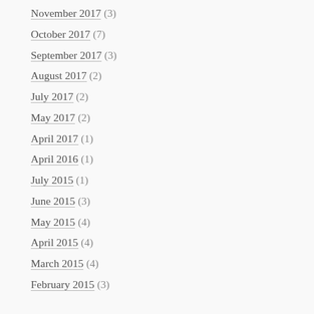November 2017 (3)
October 2017 (7)
September 2017 (3)
August 2017 (2)
July 2017 (2)
May 2017 (2)
April 2017 (1)
April 2016 (1)
July 2015 (1)
June 2015 (3)
May 2015 (4)
April 2015 (4)
March 2015 (4)
February 2015 (3)